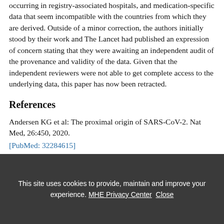occurring in registry-associated hospitals, and medication-specific data that seem incompatible with the countries from which they are derived. Outside of a minor correction, the authors initially stood by their work and The Lancet had published an expression of concern stating that they were awaiting an independent audit of the provenance and validity of the data. Given that the independent reviewers were not able to get complete access to the underlying data, this paper has now been retracted.
References
Andersen KG et al: The proximal origin of SARS-CoV-2. Nat Med, 26:450, 2020.
[PubMed: 32284615]
This site uses cookies to provide, maintain and improve your experience. MHE Privacy Center Close